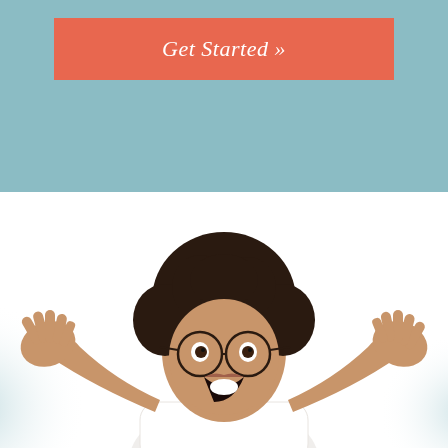Get Started »
[Figure (photo): A young woman with curly dark hair and round glasses, wearing a white t-shirt, with an excited/surprised expression, hands raised with open palms, against a white/light blue background.]